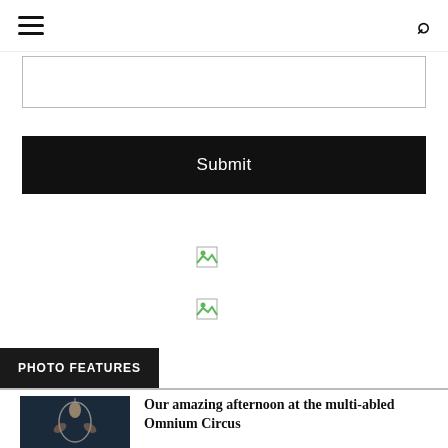Navigation header with hamburger menu and search icon
[Figure (screenshot): Empty search input text box with border]
Submit
[Figure (photo): Broken image placeholder 1]
[Figure (photo): Broken image placeholder 2]
PHOTO FEATURES
[Figure (photo): Dark photo of aerial circus performer on hoop]
Our amazing afternoon at the multi-abled Omnium Circus